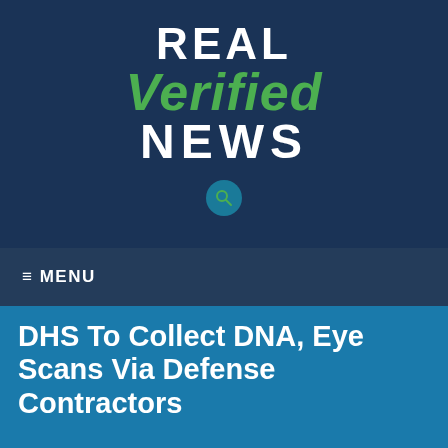[Figure (logo): Real Verified News logo — 'REAL' in white bold, 'Verified' in green italic bold, 'NEWS' in white bold, on dark navy background with a search icon circle below]
≡ MENU
DHS To Collect DNA, Eye Scans Via Defense Contractors